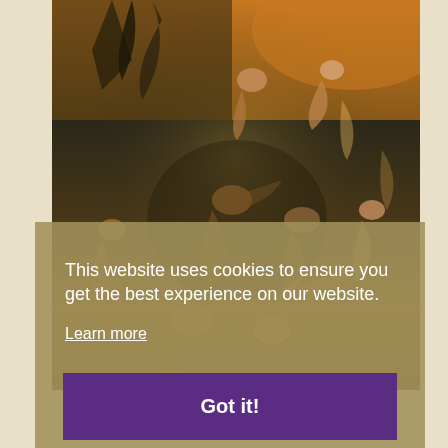[Figure (illustration): A dark classical painting depicting chaotic figures, human forms in turbulent motion against a stormy golden-orange and dark teal background, reminiscent of mythological or apocalyptic scenes.]
This website uses cookies to ensure you get the best experience on our website.
Learn more
Got it!